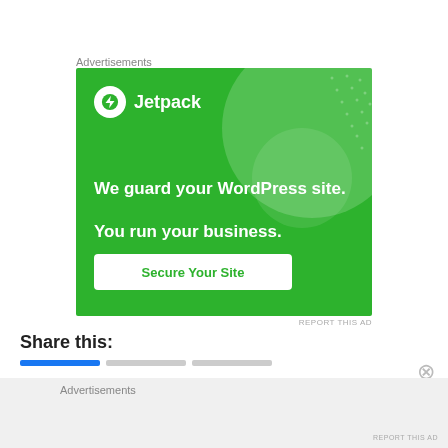Advertisements
[Figure (screenshot): Jetpack advertisement banner with green background. Shows Jetpack logo (lightning bolt icon in white circle) and brand name at top left. Large decorative circle in top right. Text reads: 'We guard your WordPress site. You run your business.' A white CTA button labeled 'Secure Your Site' is at the bottom.]
REPORT THIS AD
Share this:
Advertisements
REPORT THIS AD